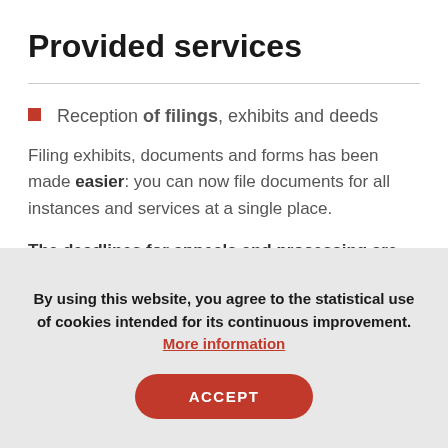Provided services
Reception of filings, exhibits and deeds
Filing exhibits, documents and forms has been made easier: you can now file documents for all instances and services at a single place.
The deadlines for appeals and processing are preserved: any filing requiring urgent processing is
By using this website, you agree to the statistical use of cookies intended for its continuous improvement. More information
ACCEPT